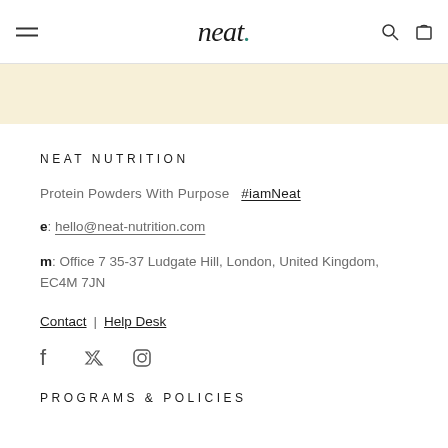neat. (logo with navigation icons)
[Figure (other): Light yellow/cream colored banner strip]
NEAT NUTRITION
Protein Powders With Purpose  #iamNeat
e: hello@neat-nutrition.com
m: Office 7 35-37 Ludgate Hill, London, United Kingdom, EC4M 7JN
Contact | Help Desk
[Figure (other): Social media icons: Facebook, Twitter, Instagram]
PROGRAMS & POLICIES